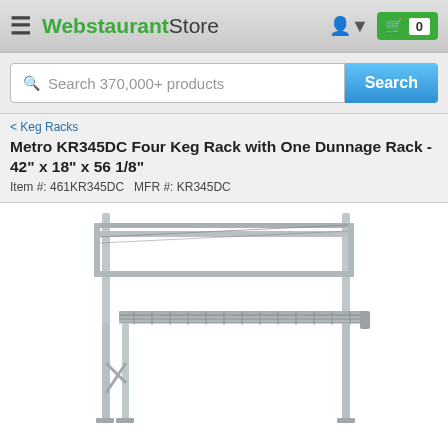WebstaurantStore
Search 370,000+ products
< Keg Racks
Metro KR345DC Four Keg Rack with One Dunnage Rack - 42" x 18" x 56 1/8"
Item #: 461KR345DC   MFR #: KR345DC
[Figure (photo): Chrome wire shelving rack with two tiers - a keg rack with dunnage rack shelf, showing the metal wire grid construction and vertical corner posts]